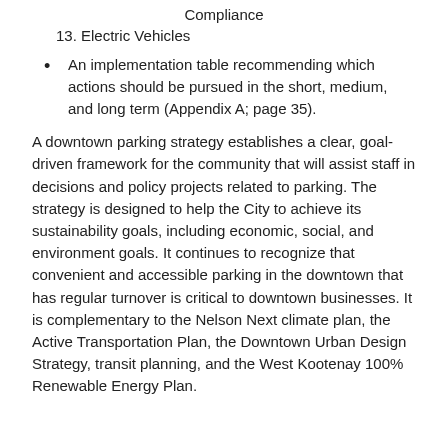Compliance
13. Electric Vehicles
An implementation table recommending which actions should be pursued in the short, medium, and long term (Appendix A; page 35).
A downtown parking strategy establishes a clear, goal-driven framework for the community that will assist staff in decisions and policy projects related to parking. The strategy is designed to help the City to achieve its sustainability goals, including economic, social, and environment goals. It continues to recognize that convenient and accessible parking in the downtown that has regular turnover is critical to downtown businesses. It is complementary to the Nelson Next climate plan, the Active Transportation Plan, the Downtown Urban Design Strategy, transit planning, and the West Kootenay 100% Renewable Energy Plan.